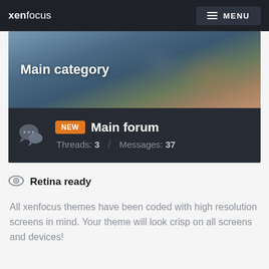xenfocus   MENU
[Figure (screenshot): Forum screenshot showing Main category banner with mountain background and Main forum row with NEW badge, Threads: 3, Messages: 37]
Retina ready
All xenfocus themes have been coded with high resolution screens in mind. Your theme will look crisp on all screens and devices!